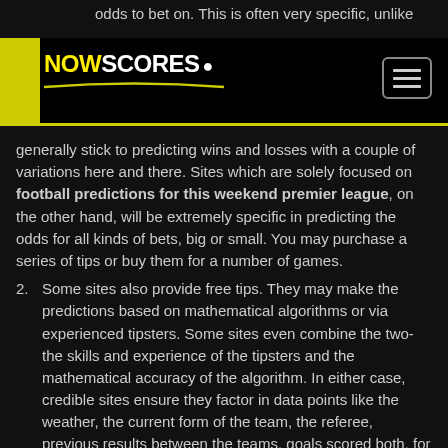odds to bet on. This is often very specific, unlike
NOWSCORES
generally stick to predicting wins and losses with a couple of variations here and there. Sites which are solely focused on football predictions for this weekend premier league, on the other hand, will be extremely specific in predicting the odds for all kinds of bets, big or small. You may purchase a series of tips or buy them for a number of games.
2. Some sites also provide free tips. They may make the predictions based on mathematical algorithms or via experienced tipsters. Some sites even combine the two- the skills and experience of the tipsters and the mathematical accuracy of the algorithm. In either case, credible sites ensure they factor in data points like the weather, the current form of the team, the referee, previous results between the teams, goals scored both, for and against, bookies odds and so on. Since the tips